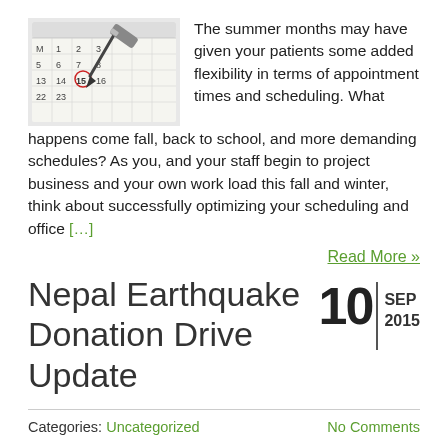[Figure (photo): A close-up photo of a calendar with a pen circling a date (the 15th), showing numbers like 5, 6, 7, 8, 14, 15, 16, 22, 23 and others on the calendar grid.]
The summer months may have given your patients some added flexibility in terms of appointment times and scheduling. What happens come fall, back to school, and more demanding schedules? As you, and your staff begin to project business and your own work load this fall and winter, think about successfully optimizing your scheduling and office [...]
Read More »
Nepal Earthquake Donation Drive Update
10 | SEP 2015
Categories: Uncategorized    No Comments
At OrthodonticMarketing.net, we treat our team like